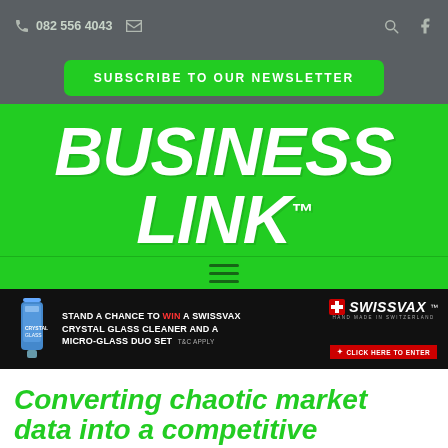082 556 4043
SUBSCRIBE TO OUR NEWSLETTER
BUSINESS LINK™
[Figure (other): Hamburger menu icon (three horizontal lines)]
[Figure (other): Advertisement banner: STAND A CHANCE TO WIN A SWISSVAX CRYSTAL GLASS CLEANER AND A MICRO-GLASS DUO SET T&C APPLY — with Swissvax logo and red CLICK HERE TO ENTER button]
Converting chaotic market data into a competitive